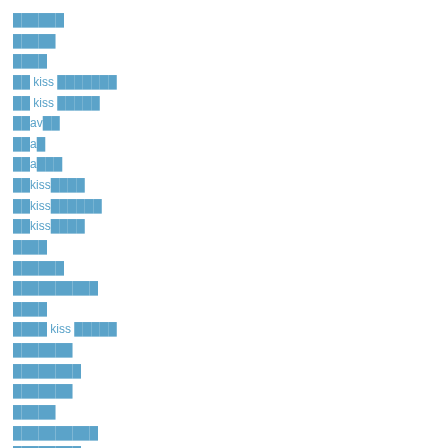██████
█████
████
██ kiss ███████
██ kiss █████
██av██
██a█
██a███
██kiss████
██kiss██████
██kiss████
████
██████
██████████
████
████ kiss █████
███████
████████
███████
█████
██████████
████████